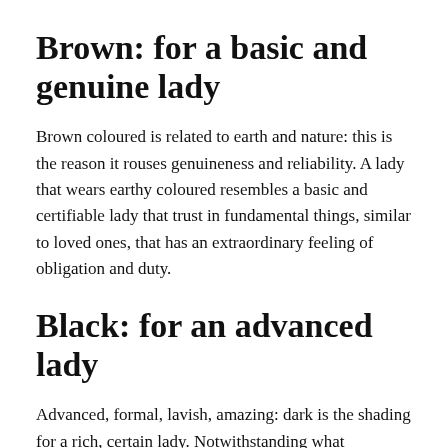Brown: for a basic and genuine lady
Brown coloured is related to earth and nature: this is the reason it rouses genuineness and reliability. A lady that wears earthy coloured resembles a basic and certifiable lady that trust in fundamental things, similar to loved ones, that has an extraordinary feeling of obligation and duty.
Black: for an advanced lady
Advanced, formal, lavish, amazing: dark is the shading for a rich, certain lady. Notwithstanding what individuals frequently think, dark is particular and paramount: a lady with a dark bag must be paid attention to. You can combine it with different hues to make them stick out and to add a